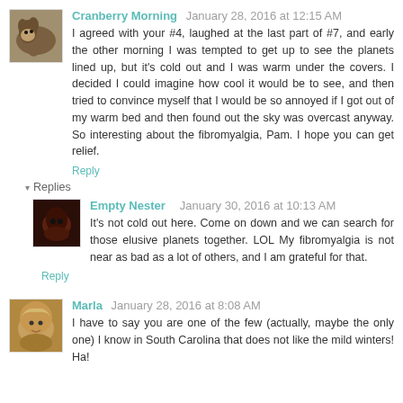Cranberry Morning  January 28, 2016 at 12:15 AM
I agreed with your #4, laughed at the last part of #7, and early the other morning I was tempted to get up to see the planets lined up, but it's cold out and I was warm under the covers. I decided I could imagine how cool it would be to see, and then tried to convince myself that I would be so annoyed if I got out of my warm bed and then found out the sky was overcast anyway. So interesting about the fibromyalgia, Pam. I hope you can get relief.
Reply
▾  Replies
Empty Nester     January 30, 2016 at 10:13 AM
It's not cold out here. Come on down and we can search for those elusive planets together. LOL My fibromyalgia is not near as bad as a lot of others, and I am grateful for that.
Reply
Marla  January 28, 2016 at 8:08 AM
I have to say you are one of the few (actually, maybe the only one) I know in South Carolina that does not like the mild winters! Ha!